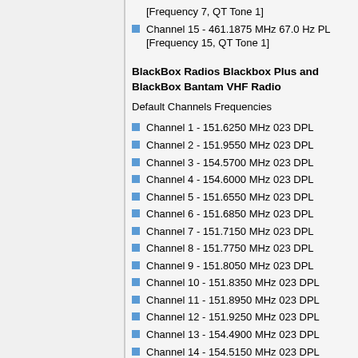[Frequency 7, QT Tone 1]
Channel 15 - 461.1875 MHz 67.0 Hz PL [Frequency 15, QT Tone 1]
BlackBox Radios Blackbox Plus and BlackBox Bantam VHF Radio
Default Channels Frequencies
Channel 1 - 151.6250 MHz 023 DPL
Channel 2 - 151.9550 MHz 023 DPL
Channel 3 - 154.5700 MHz 023 DPL
Channel 4 - 154.6000 MHz 023 DPL
Channel 5 - 151.6550 MHz 023 DPL
Channel 6 - 151.6850 MHz 023 DPL
Channel 7 - 151.7150 MHz 023 DPL
Channel 8 - 151.7750 MHz 023 DPL
Channel 9 - 151.8050 MHz 023 DPL
Channel 10 - 151.8350 MHz 023 DPL
Channel 11 - 151.8950 MHz 023 DPL
Channel 12 - 151.9250 MHz 023 DPL
Channel 13 - 154.4900 MHz 023 DPL
Channel 14 - 154.5150 MHz 023 DPL
Channel 15 - 154.5400 MHz 023 DPL